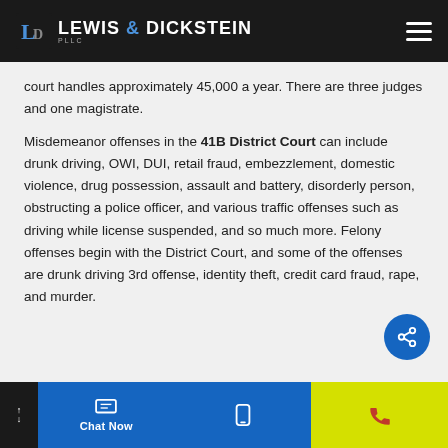Lewis & Dickstein PLLC
court handles approximately 45,000 a year. There are three judges and one magistrate.
Misdemeanor offenses in the 41B District Court can include drunk driving, OWI, DUI, retail fraud, embezzlement, domestic violence, drug possession, assault and battery, disorderly person, obstructing a police officer, and various traffic offenses such as driving while license suspended, and so much more. Felony offenses begin with the District Court, and some of the offenses are drunk driving 3rd offense, identity theft, credit card fraud, rape, and murder.
Chat Now